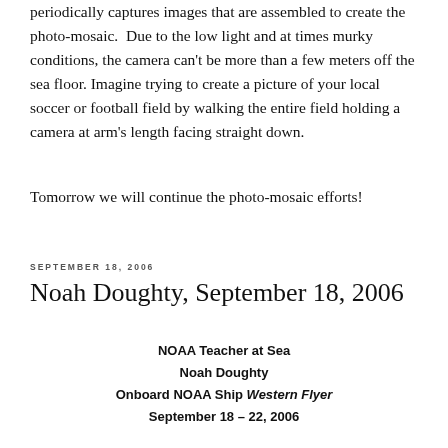periodically captures images that are assembled to create the photo-mosaic.  Due to the low light and at times murky conditions, the camera can't be more than a few meters off the sea floor. Imagine trying to create a picture of your local soccer or football field by walking the entire field holding a camera at arm's length facing straight down.
Tomorrow we will continue the photo-mosaic efforts!
SEPTEMBER 18, 2006
Noah Doughty, September 18, 2006
NOAA Teacher at Sea
Noah Doughty
Onboard NOAA Ship Western Flyer
September 18 – 22, 2006